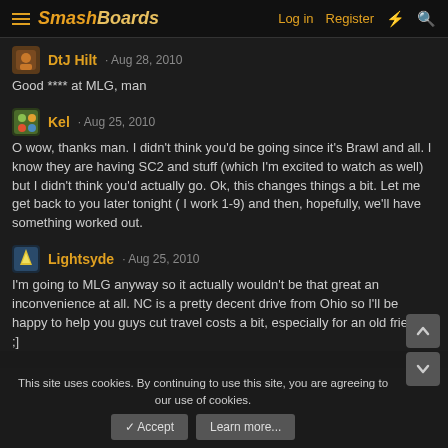SmashBoards — Log in  Register
DtJ Hilt · Aug 28, 2010
Good **** at MLG, man
Kel · Aug 25, 2010
O wow, thanks man. I didn't think you'd be going since it's Brawl and all. I know they are having SC2 and stuff (which I'm excited to watch as well) but I didn't think you'd actually go. Ok, this changes things a bit. Let me get back to you later tonight ( I work 1-9) and then, hopefully, we'll have something worked out.
Lightsyde · Aug 25, 2010
I'm going to MLG anyway so it actually wouldn't be that great an inconvenience at all. NC is a pretty decent drive from Ohio so I'll be happy to help you guys cut travel costs a bit, especially for an old friend. ;]
This site uses cookies. By continuing to use this site, you are agreeing to our use of cookies.